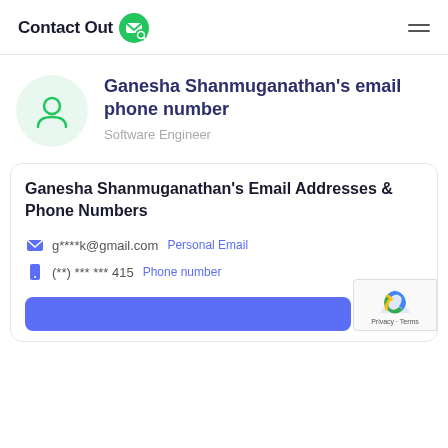ContactOut
Ganesha Shanmuganathan's email phone number
Software Engineer
Ganesha Shanmuganathan's Email Addresses & Phone Numbers
g****k@gmail.com  Personal Email
(**) *** *** 415  Phone number